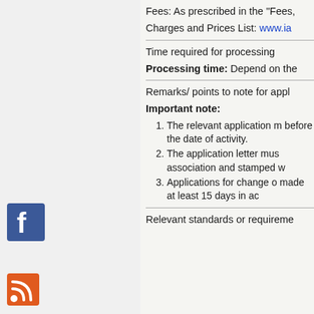Fees: As prescribed in the "Fees,
Charges and Prices List: www.ia
Time required for processing
Processing time: Depend on the
Remarks/ points to note for appl
Important note:
1. The relevant application m before the date of activity.
2. The application letter mus association and stamped w
3. Applications for change o made at least 15 days in ac
Relevant standards or requireme
[Figure (logo): Facebook logo icon - blue square with white F]
[Figure (logo): RSS feed icon - orange square with white RSS symbol]